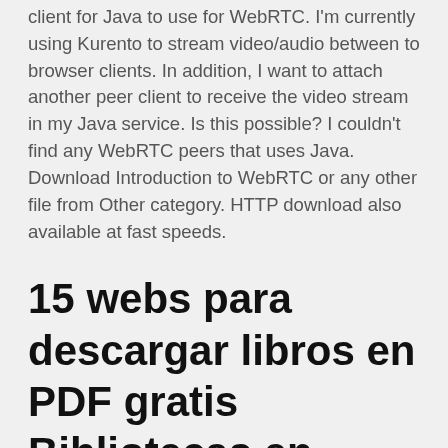client for Java to use for WebRTC. I'm currently using Kurento to stream video/audio between to browser clients. In addition, I want to attach another peer client to receive the video stream in my Java service. Is this possible? I couldn't find any WebRTC peers that uses Java. Download Introduction to WebRTC or any other file from Other category. HTTP download also available at fast speeds.
15 webs para descargar libros en PDF gratis Bibliotecas en internet, con un montón de libros y obras a tan solo un click de distancia. Juan Armando Corbin. Pexels. Leer es uno de los grandes placeres de la la vida, que no